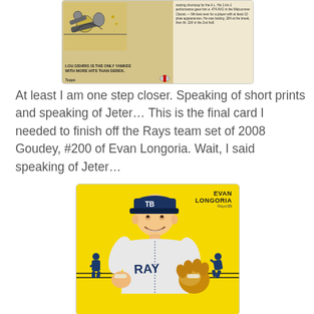[Figure (photo): Back of a Derek Jeter Topps baseball card showing illustration of player sliding and text about Lou Gehrig being the only Yankee with more hits than Derek. Topps logo visible at bottom left.]
At least I am one step closer. Speaking of short prints and speaking of Jeter… This is the final card I needed to finish off the Rays team set of 2008 Goudey, #200 of Evan Longoria. Wait, I said speaking of Jeter…
[Figure (photo): Front of 2008 Goudey baseball card #200 of Evan Longoria, Rays/3B. Yellow background with illustrated portrait of Longoria in Rays uniform holding a glove, smiling. Two blue silhouette baseball players in background. Card reads EVAN LONGORIA, Rays/3B.]